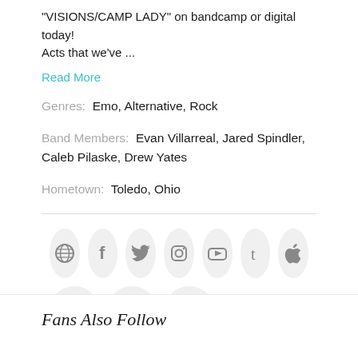"VISIONS/CAMP LADY" on bandcamp or digital today! Acts that we've ...
Read More
Genres: Emo, Alternative, Rock
Band Members: Evan Villarreal, Jared Spindler, Caleb Pilaske, Drew Yates
Hometown: Toledo, Ohio
[Figure (other): Row of social media icon circles: globe, Facebook, Twitter, Instagram, YouTube, Tumblr, Apple; second row: Spotify, Snapchat, shirt/merch icon]
Fans Also Follow